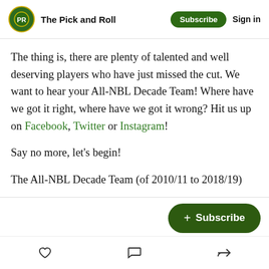The Pick and Roll
The thing is, there are plenty of talented and well deserving players who have just missed the cut. We want to hear your All-NBL Decade Team! Where have we got it right, where have we got it wrong? Hit us up on Facebook, Twitter or Instagram!
Say no more, let's begin!
The All-NBL Decade Team (of 2010/11 to 2018/19)
Starters